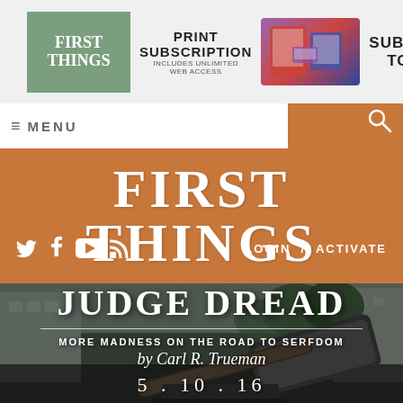[Figure (screenshot): First Things magazine advertisement banner: green logo on left, 'PRINT SUBSCRIPTION INCLUDES UNLIMITED WEB ACCESS' text in center, device images, 'SUBSCRIBE TODAY!' on right]
≡ MENU
[Figure (logo): FIRST THINGS website header with orange/brown background, large serif white text 'FIRST THINGS', social media icons (Twitter, Facebook, YouTube, RSS), LOGIN / ACTIVATE links]
[Figure (photo): Background photo of courthouse with gavel in foreground, dark moody tones]
JUDGE DREAD
MORE MADNESS ON THE ROAD TO SERFDOM
by Carl R. Trueman
5 . 10 . 16